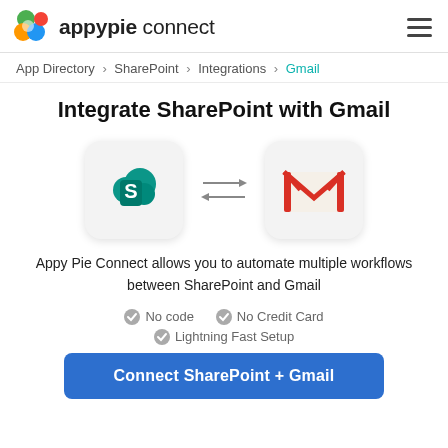appypie connect
App Directory > SharePoint > Integrations > Gmail
Integrate SharePoint with Gmail
[Figure (logo): SharePoint logo icon (teal S with cloud) and Gmail logo icon (red M envelope) connected by bidirectional arrows]
Appy Pie Connect allows you to automate multiple workflows between SharePoint and Gmail
No code
No Credit Card
Lightning Fast Setup
Connect SharePoint + Gmail